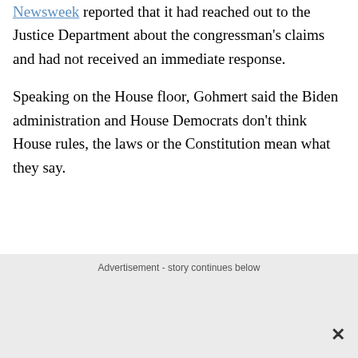Newsweek reported that it had reached out to the Justice Department about the congressman's claims and had not received an immediate response.
Speaking on the House floor, Gohmert said the Biden administration and House Democrats don't think House rules, the laws or the Constitution mean what they say.
Advertisement - story continues below